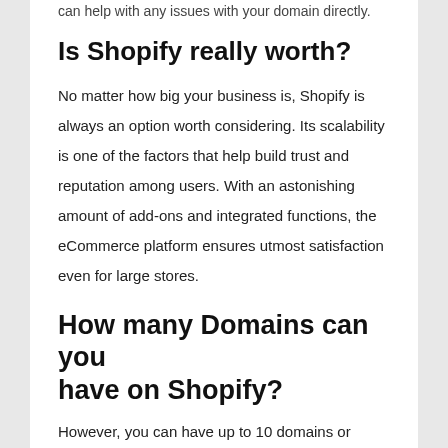can help with any issues with your domain directly.
Is Shopify really worth?
No matter how big your business is, Shopify is always an option worth considering. Its scalability is one of the factors that help build trust and reputation among users. With an astonishing amount of add-ons and integrated functions, the eCommerce platform ensures utmost satisfaction even for large stores.
How many Domains can you have on Shopify?
However, you can have up to 10 domains or